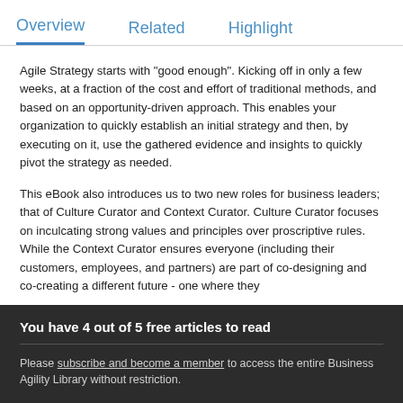Overview | Related | Highlight
Agile Strategy starts with "good enough". Kicking off in only a few weeks, at a fraction of the cost and effort of traditional methods, and based on an opportunity-driven approach. This enables your organization to quickly establish an initial strategy and then, by executing on it, use the gathered evidence and insights to quickly pivot the strategy as needed.
This eBook also introduces us to two new roles for business leaders; that of Culture Curator and Context Curator. Culture Curator focuses on inculcating strong values and principles over proscriptive rules. While the Context Curator ensures everyone (including their customers, employees, and partners) are part of co-designing and co-creating a different future - one where they
You have 4 out of 5 free articles to read
Please subscribe and become a member to access the entire Business Agility Library without restriction.